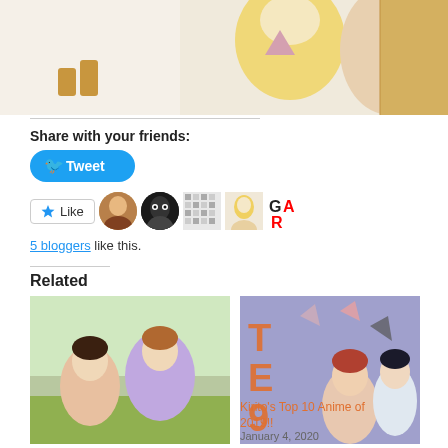[Figure (illustration): Partial anime illustration at top of page showing characters]
Share with your friends:
[Figure (other): Tweet button (blue rounded rectangle with Twitter bird icon and 'Tweet' text)]
[Figure (other): WordPress Like button with star icon and 'Like' text, followed by 5 blogger avatar icons]
5 bloggers like this.
Related
[Figure (illustration): Anime illustration for Asobi Asobase article]
Asobi Asobase (First
[Figure (illustration): Anime illustration for Kirito's Top 10 Anime of 2019 article, showing two girl characters on purple background with 'TE9' text]
Kirito's Top 10 Anime of 2019!!
January 4, 2020